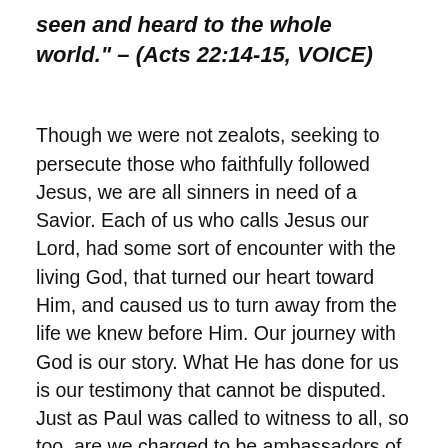seen and heard to the whole world." – (Acts 22:14-15, VOICE)
Though we were not zealots, seeking to persecute those who faithfully followed Jesus, we are all sinners in need of a Savior. Each of us who calls Jesus our Lord, had some sort of encounter with the living God, that turned our heart toward Him, and caused us to turn away from the life we knew before Him. Our journey with God is our story. What He has done for us is our testimony that cannot be disputed. Just as Paul was called to witness to all, so too, are we charged to be ambassadors of God to